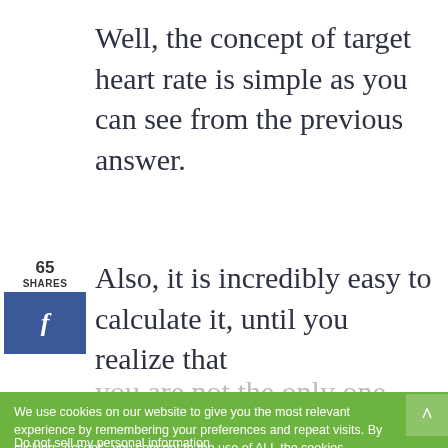Well, the concept of target heart rate is simple as you can see from the previous answer.
65 SHARES
[Figure (other): Facebook share button (blue square with f)]
Also, it is incredibly easy to calculate it, until you realize that
We use cookies on our website to give you the most relevant experience by remembering your preferences and repeat visits. By clicking “Accept”, you consent to the use of ALL the cookies.
Do not sell my personal information
No compatible source was found for this media.
[Figure (other): Orange Direct Relief charity banner: Help send medical aid to Ukraine >>]